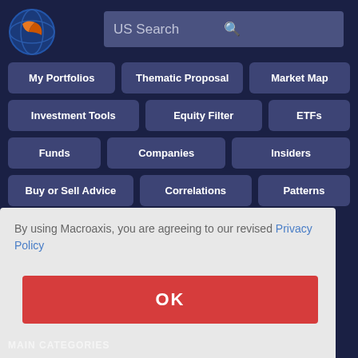[Figure (logo): Macroaxis circular logo with orange and blue globe icon]
US Search
My Portfolios
Thematic Proposal
Market Map
Investment Tools
Equity Filter
ETFs
Funds
Companies
Insiders
Buy or Sell Advice
Correlations
Patterns
By using Macroaxis, you are agreeing to our revised Privacy Policy
OK
MAIN CATEGORIES